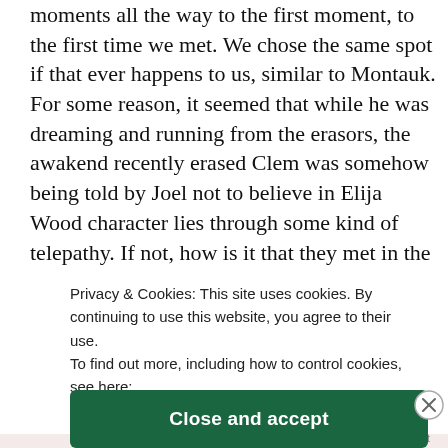moments all the way to the first moment, to the first time we met. We chose the same spot if that ever happens to us, similar to Montauk. For some reason, it seemed that while he was dreaming and running from the erasors, the awakend recently erased Clem was somehow being told by Joel not to believe in Elija Wood character lies through some kind of telepathy. If not, how is it that they met in the train that exact day? At the end this question is left to open interpretation, which makes the movie excellent for watching it again every 5 years or so with your partner.
Privacy & Cookies: This site uses cookies. By continuing to use this website, you agree to their use.
To find out more, including how to control cookies, see here: Cookie Policy
Close and accept